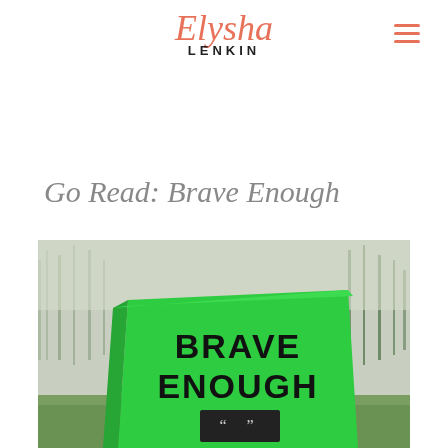Elysha LENKIN
Go Read: Brave Enough
[Figure (photo): Photo of a bright green hardcover book titled 'BRAVE ENOUGH' held up outdoors in front of bare winter trees and grass. The book cover is green with bold black text. A small decorative element with quotation marks is visible at the bottom.]